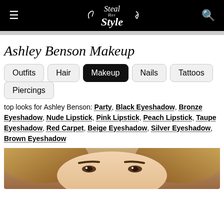Steal Her Style
Ashley Benson Makeup
Outfits
Hair
Makeup
Nails
Tattoos
Piercings
top looks for Ashley Benson: Party, Black Eyeshadow, Bronze Eyeshadow, Nude Lipstick, Pink Lipstick, Peach Lipstick, Taupe Eyeshadow, Red Carpet, Beige Eyeshadow, Silver Eyeshadow, Brown Eyeshadow
[Figure (photo): Close-up photo of Ashley Benson's face, showing her hair and forehead area with makeup.]